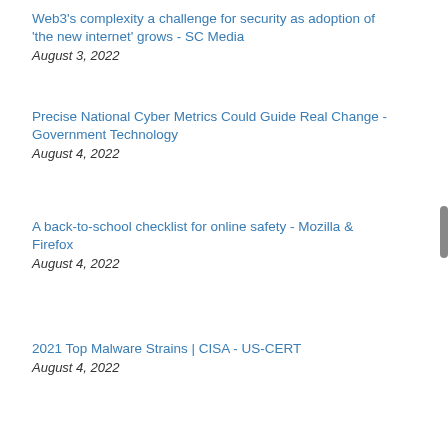Web3's complexity a challenge for security as adoption of 'the new internet' grows - SC Media
August 3, 2022
Precise National Cyber Metrics Could Guide Real Change - Government Technology
August 4, 2022
A back-to-school checklist for online safety - Mozilla & Firefox
August 4, 2022
2021 Top Malware Strains | CISA - US-CERT
August 4, 2022